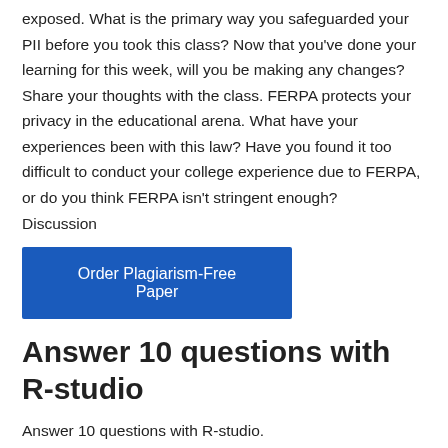exposed. What is the primary way you safeguarded your PII before you took this class? Now that you've done your learning for this week, will you be making any changes? Share your thoughts with the class. FERPA protects your privacy in the educational arena. What have your experiences been with this law? Have you found it too difficult to conduct your college experience due to FERPA, or do you think FERPA isn't stringent enough?
Discussion
[Figure (other): Blue button labeled 'Order Plagiarism-Free Paper']
Answer 10 questions with R-studio
Answer 10 questions with R-studio.
Spatial analysis is widely used to understand landscape patterns and the processes within them.There are countless applications for spatial analysis, whether you are identifying hotspot crime